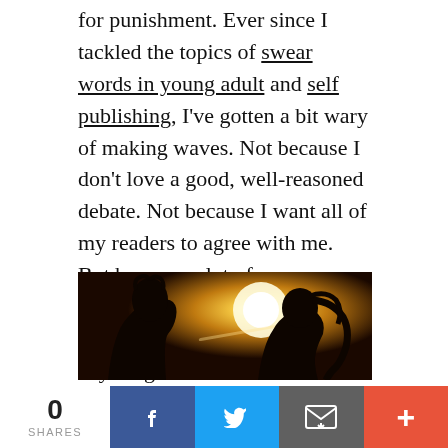for punishment. Ever since I tackled the topics of swear words in young adult and self publishing, I've gotten a bit wary of making waves. Not because I don't love a good, well-reasoned debate. Not because I want all of my readers to agree with me. But because a lot of responses on controversial topics are more annoying and inflammatory than anything else. But writers have questions, and I have answers, so here we go!
[Figure (photo): Silhouette of two people (a couple) about to kiss, backlit by a bright golden sun, creating a dramatic sepia/amber-toned romantic photograph.]
0 SHARES | Facebook | Twitter | Email | +